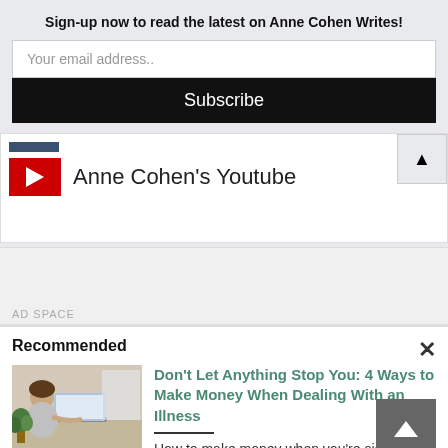Sign-up now to read the latest on Anne Cohen Writes!
Your email address..
Subscribe
[Figure (logo): YouTube icon button - red square with white play triangle]
Anne Cohen's Youtube
AD SPACE
Recommended
[Figure (photo): Woman sitting at desk working on laptop with plants in background]
Don't Let Anything Stop You: 4 Ways to Make Money When Dealing With an Illness
How to make money when you're sick.